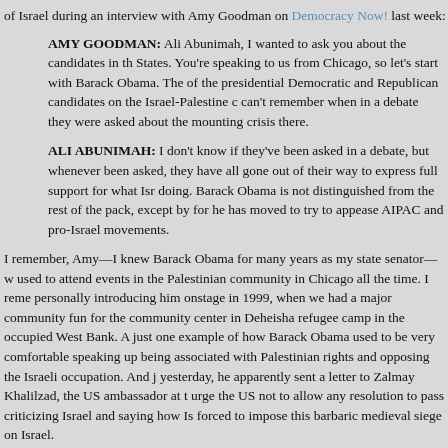of Israel during an interview with Amy Goodman on Democracy Now! last week:
AMY GOODMAN: Ali Abunimah, I wanted to ask you about the candidates in the States. You're speaking to us from Chicago, so let's start with Barack Obama. The of the presidential Democratic and Republican candidates on the Israel-Palestine c can't remember when in a debate they were asked about the mounting crisis there.
ALI ABUNIMAH: I don't know if they've been asked in a debate, but whenever been asked, they have all gone out of their way to express full support for what Isr doing. Barack Obama is not distinguished from the rest of the pack, except by for he has moved to try to appease AIPAC and pro-Israel movements.
I remember, Amy—I knew Barack Obama for many years as my state senator—w used to attend events in the Palestinian community in Chicago all the time. I reme personally introducing him onstage in 1999, when we had a major community fun for the community center in Deheisha refugee camp in the occupied West Bank. A just one example of how Barack Obama used to be very comfortable speaking up being associated with Palestinian rights and opposing the Israeli occupation. And j yesterday, he apparently sent a letter to Zalmay Khalilzad, the US ambassador at t urge the US not to allow any resolution to pass criticizing Israel and saying how Is forced to impose this barbaric medieval siege on Israel.
None of the other candidates in the mainstream have spoken out for Palestinian rig only ones who have taken forceful positions opposing the current US strategy are Kucinich on the Democratic side and Ron Paul on the Republican side. The mains all perfectly comfortable with the war crimes that Israel is committing, no matter h they talk about human rights elsewhere.